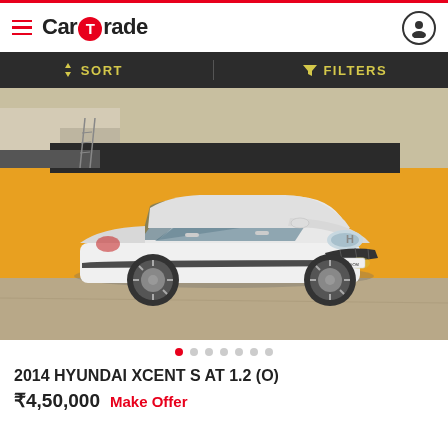CarTrade
SORT   FILTERS
[Figure (photo): White 2014 Hyundai Xcent S AT 1.2 (O) sedan parked on a dirt road in front of a yellow construction wall and industrial building background.]
2014 HYUNDAI XCENT S AT 1.2 (O)
₹4,50,000  Make Offer